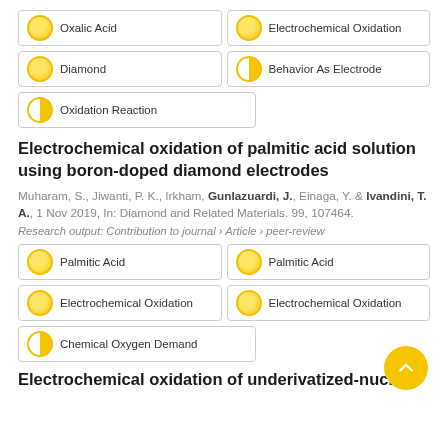Oxalic Acid
Electrochemical Oxidation
Diamond
Behavior As Electrode
Oxidation Reaction
Electrochemical oxidation of palmitic acid solution using boron-doped diamond electrodes
Muharam, S., Jiwanti, P. K., Irkham, Gunlazuardi, J., Einaga, Y. & Ivandini, T. A., 1 Nov 2019, In: Diamond and Related Materials. 99, 107464.
Research output: Contribution to journal › Article › peer-review
Palmitic Acid
Palmitic Acid
Electrochemical Oxidation
Electrochemical Oxidation
Chemical Oxygen Demand
Electrochemical oxidation of underivatized-nucleic